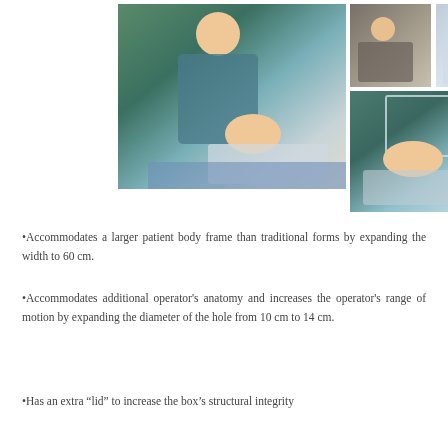[Figure (photo): Medical photo collage showing healthcare providers performing a procedure on a patient lying on a table. The collage includes one large main photo on the left of a provider in scrubs working on a supine patient, two smaller photos in the top right showing similar procedural scenes, and one larger photo on the bottom right showing the patient from a different angle with a transparent barrier visible.]
Accommodates a larger patient body frame than traditional forms by expanding the width to 60 cm.
Accommodates additional operator's anatomy and increases the operator's range of motion by expanding the diameter of the hole from 10 cm to 14 cm.
Has an extra “lid” to increase the box’s structural integrity